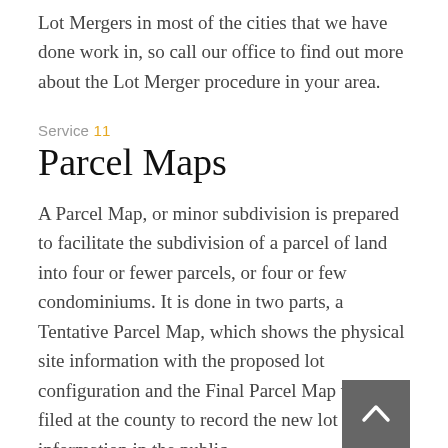Lot Mergers in most of the cities that we have done work in, so call our office to find out more about the Lot Merger procedure in your area.
Service 11
Parcel Maps
A Parcel Map, or minor subdivision is prepared to facilitate the subdivision of a parcel of land into four or fewer parcels, or four or few condominiums. It is done in two parts, a Tentative Parcel Map, which shows the physical site information with the proposed lot configuration and the Final Parcel Map which is filed at the county to record the new lot information in the public